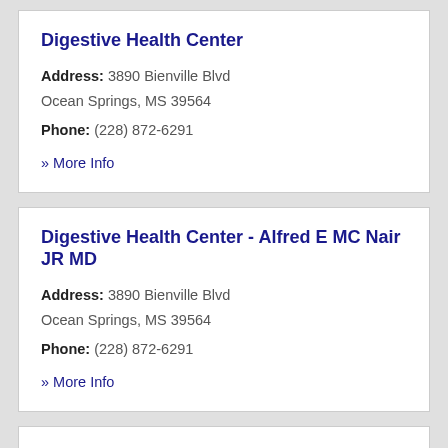Digestive Health Center
Address: 3890 Bienville Blvd Ocean Springs, MS 39564
Phone: (228) 872-6291
» More Info
Digestive Health Center - Alfred E MC Nair JR MD
Address: 3890 Bienville Blvd Ocean Springs, MS 39564
Phone: (228) 872-6291
» More Info